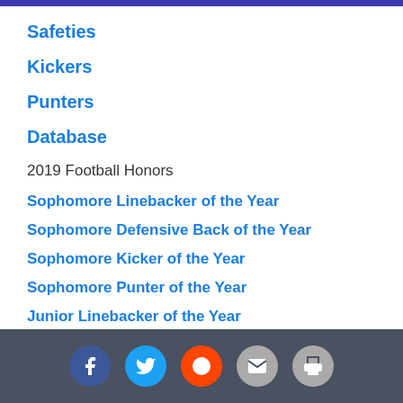Safeties
Kickers
Punters
Database
2019 Football Honors
Sophomore Linebacker of the Year
Sophomore Defensive Back of the Year
Sophomore Kicker of the Year
Sophomore Punter of the Year
Junior Linebacker of the Year
Junior Offensive Lineman of the Year
Junior Defensive Back of the Year
Junior Kicker of the Year